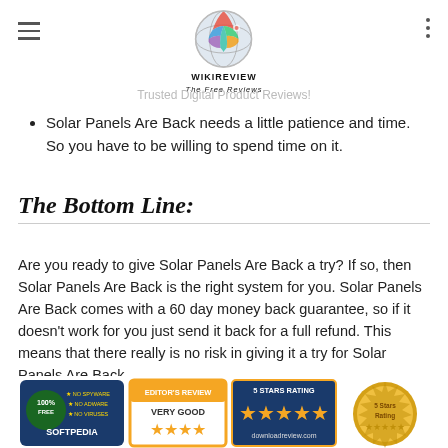WIKIREVIEW The Free Reviews - Trusted Digital Product Reviews!
Solar Panels Are Back needs a little patience and time. So you have to be willing to spend time on it.
The Bottom Line:
Are you ready to give Solar Panels Are Back a try? If so, then Solar Panels Are Back is the right system for you. Solar Panels Are Back comes with a 60 day money back guarantee, so if it doesn’t work for you just send it back for a full refund. This means that there really is no risk in giving it a try for Solar Panels Are Back.
[Figure (other): Four trust/rating badges: Softpedia 100% Free badge, Editor's Review Very Good badge, 5 Stars Rating badge, and gold 5 Stars Rating seal]